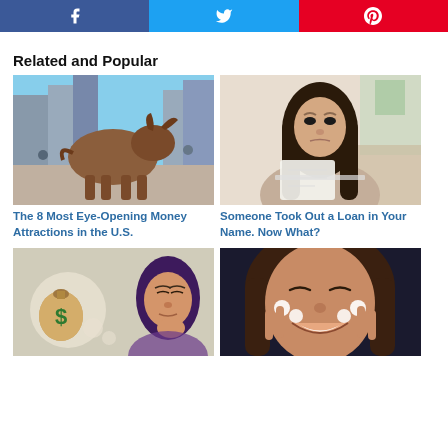[Figure (other): Social share buttons: Facebook (blue), Twitter (light blue), Pinterest (red)]
Related and Popular
[Figure (photo): Wall Street Charging Bull statue in New York City]
The 8 Most Eye-Opening Money Attractions in the U.S.
[Figure (photo): Woman with concerned expression reading a document while holding a laptop]
Someone Took Out a Loan in Your Name. Now What?
[Figure (photo): Woman thinking with a money bag illustration in a thought bubble]
[Figure (photo): Smiling woman with cream dots on her face touching her cheeks]